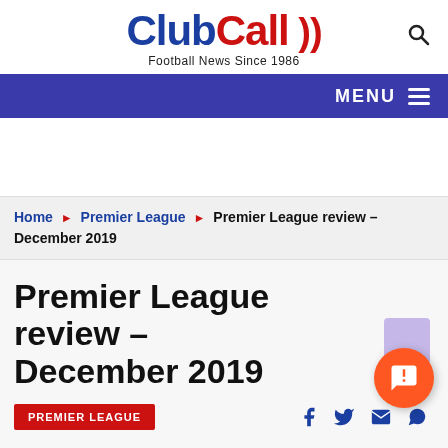ClubCall Football News Since 1986
MENU
Home ▶ Premier League ▶ Premier League review – December 2019
Premier League review – December 2019
PREMIER LEAGUE